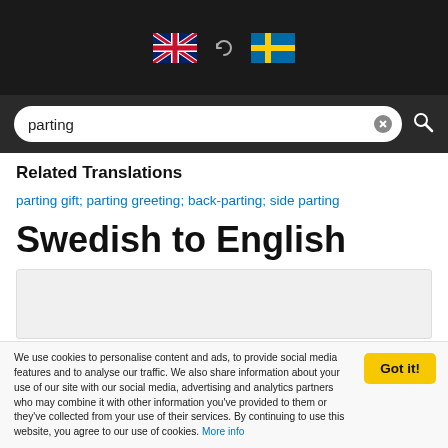[Figure (screenshot): Translation website header with UK flag, sync icon, and Swedish flag, plus search bar with 'parting' query]
Related Translations
parting gift; parting greeting; back-parting; side parting
Swedish to English
[Figure (other): Advertisement placeholder box]
Sentence Translation
parting
par → couple; pair; the two; tandem; twosome; two; two people
We use cookies to personalise content and ads, to provide social media features and to analyse our traffic. We also share information about your use of our site with our social media, advertising and analytics partners who may combine it with other information you've provided to them or they've collected from your use of their services. By continuing to use this website, you agree to our use of cookies. More info